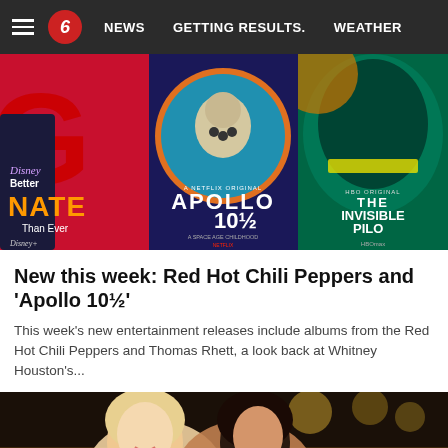NEWS  GETTING RESULTS.  WEATHER
[Figure (photo): Three movie/show posters side by side: 'Better Nate Than Ever' on Disney+, 'Apollo 10½: A Space Age Childhood' on Netflix, and 'The Invisible Pilot' on HBO Max]
New this week: Red Hot Chili Peppers and 'Apollo 10½'
This week's new entertainment releases include albums from the Red Hot Chili Peppers and Thomas Rhett, a look back at Whitney Houston's...
[Figure (photo): Two women smiling and posing together at what appears to be an awards show, with stage lighting in the background]